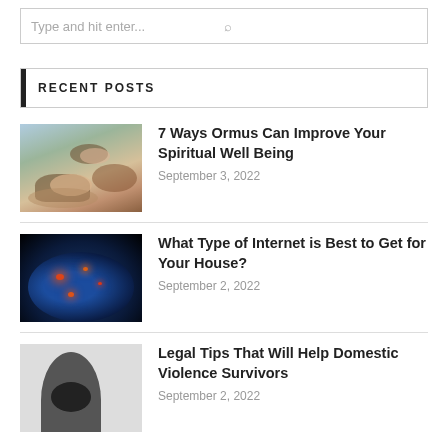Type and hit enter...
RECENT POSTS
[Figure (photo): Bowls of pink Himalayan salt on a decorative surface]
7 Ways Ormus Can Improve Your Spiritual Well Being
September 3, 2022
[Figure (photo): Glowing globe showing network connections in dark background]
What Type of Internet is Best to Get for Your House?
September 2, 2022
[Figure (photo): Person clasping hands, domestic violence awareness image]
Legal Tips That Will Help Domestic Violence Survivors
September 2, 2022